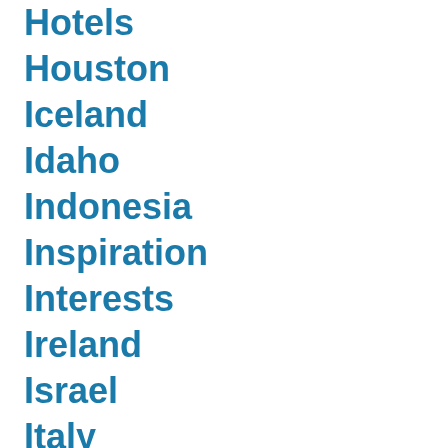Hotels
Houston
Iceland
Idaho
Indonesia
Inspiration
Interests
Ireland
Israel
Italy
Itineraries
Japan